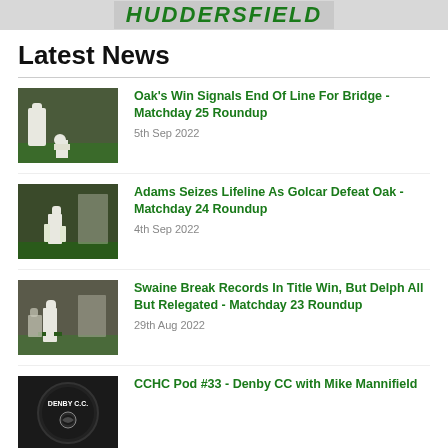Cricket club header banner
Latest News
Oak's Win Signals End Of Line For Bridge - Matchday 25 Roundup | 5th Sep 2022
Adams Seizes Lifeline As Golcar Defeat Oak - Matchday 24 Roundup | 4th Sep 2022
Swaine Break Records In Title Win, But Delph All But Relegated - Matchday 23 Roundup | 29th Aug 2022
CCHC Pod #33 - Denby CC with Mike Mannifield